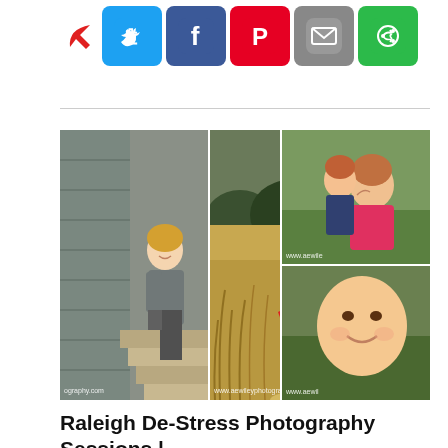[Figure (screenshot): Social media sharing icons row: red arrow/cursor icon, Twitter (blue bird), Facebook (blue f), Pinterest (red P), Email (grey envelope), More/Share (green circle-arrow) buttons]
[Figure (photo): Photo collage of three panels: left panel shows a woman smiling sitting on wooden steps beside a rustic building; center panel shows two children (girl in red tutu and black jacket, boy in white shirt) walking away through a golden meadow field with watermark www.aewileyphotography.com; right panel split into top (mother and daughter hugging outdoors on grass) and bottom (close-up of smiling baby/toddler outdoors) both with www.aewil watermark]
Raleigh De-Stress Photography Sessions | Advice From the Expert